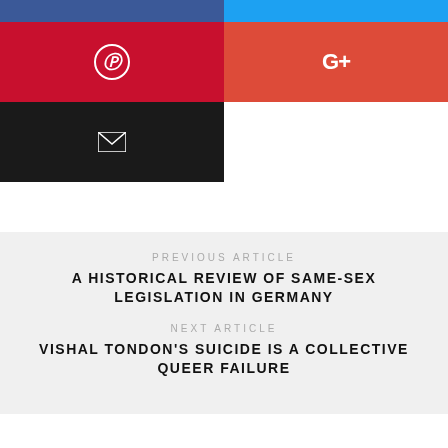[Figure (infographic): Social share buttons: Facebook (blue), Twitter (light blue), Pinterest (red with P circle icon), Google+ (orange-red with G+ text), Email (black with envelope icon)]
PREVIOUS ARTICLE
A HISTORICAL REVIEW OF SAME-SEX LEGISLATION IN GERMANY
NEXT ARTICLE
VISHAL TONDON'S SUICIDE IS A COLLECTIVE QUEER FAILURE
RELATED POSTS